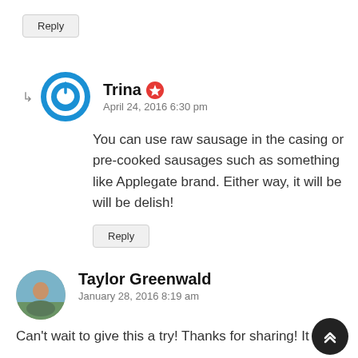Reply
Trina  April 24, 2016 6:30 pm
You can use raw sausage in the casing or pre-cooked sausages such as something like Applegate brand. Either way, it will be will be delish!
Reply
Taylor Greenwald  January 28, 2016 8:19 am
Can't wait to give this a try! Thanks for sharing! It looks deli...